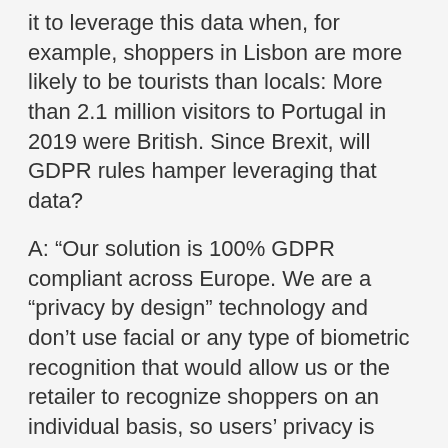it to leverage this data when, for example, shoppers in Lisbon are more likely to be tourists than locals: More than 2.1 million visitors to Portugal in 2019 were British. Since Brexit, will GDPR rules hamper leveraging that data?
A: “Our solution is 100% GDPR compliant across Europe. We are a “privacy by design” technology and don’t use facial or any type of biometric recognition that would allow us or the retailer to recognize shoppers on an individual basis, so users’ privacy is 100% guaranteed.”
Q: In the U.S., retail workers are now recovering from a 17.1 percent unemployment rate in April 2020. Today, the figure is double its pre-pandemic levels. Will autonomous shopping play a part in directly driving the unemployment figures higher than they currently stand?
A: “The retail industry we know is undoubtedly set for significant change as a result of new innovations like autonomous technology, but I expect the change will be